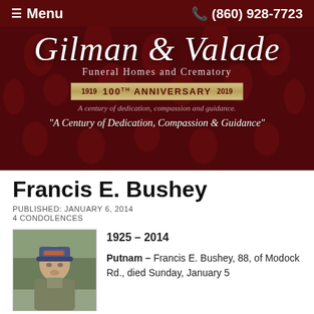☰ Menu  📞 (860) 928-7723
[Figure (illustration): Gilman & Valade Funeral Homes and Crematory banner with dark red damask background, script logo, and 100th Anniversary badge (1919-2019). Tagline: A century of dedication, compassion and guidance. Quote: "A Century of Dedication, Compassion & Guidance"]
Francis E. Bushey
PUBLISHED: JANUARY 6, 2014
4 CONDOLENCES
[Figure (photo): Photo of Francis E. Bushey, an older man outdoors in winter]
1925 – 2014
Putnam – Francis E. Bushey, 88, of Modock Rd., died Sunday, January 5